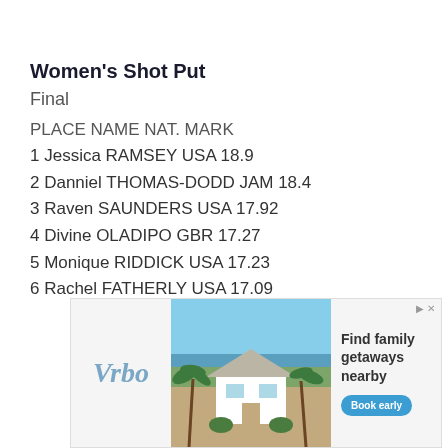Women's Shot Put
Final
PLACE NAME NAT. MARK
1 Jessica RAMSEY USA 18.9
2 Danniel THOMAS-DODD JAM 18.4
3 Raven SAUNDERS USA 17.92
4 Divine OLADIPO GBR 17.27
5 Monique RIDDICK USA 17.23
6 Rachel FATHERLY USA 17.09
[Figure (infographic): Vrbo advertisement banner showing a beach house with palm trees, text 'Find family getaways nearby' and a 'Book early' button]